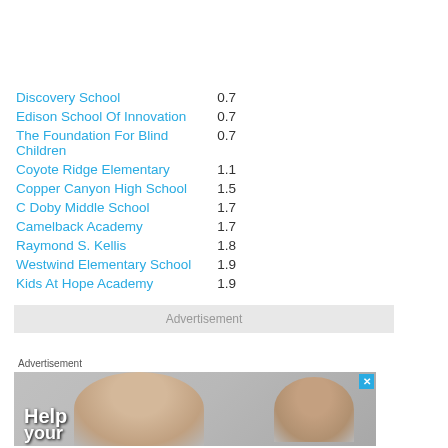Discovery School  0.7
Edison School Of Innovation  0.7
The Foundation For Blind Children  0.7
Coyote Ridge Elementary  1.1
Copper Canyon High School  1.5
C Doby Middle School  1.7
Camelback Academy  1.7
Raymond S. Kellis  1.8
Westwind Elementary School  1.9
Kids At Hope Academy  1.9
Advertisement
[Figure (photo): Advertisement banner showing a child and adult with 'Help your' text overlay]